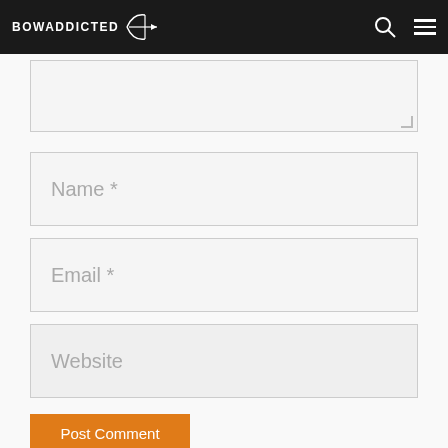BowAddicted
[Figure (screenshot): Comment form with textarea (partially visible), Name, Email, Website input fields, and Post Comment button on BowAddicted website]
Name *
Email *
Website
Post Comment